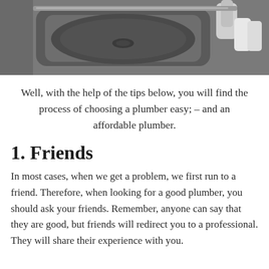[Figure (photo): A close-up photograph of a stainless steel kitchen sink with a faucet and soap dispensers visible on the right side.]
Well, with the help of the tips below, you will find the process of choosing a plumber easy; – and an affordable plumber.
1. Friends
In most cases, when we get a problem, we first run to a friend. Therefore, when looking for a good plumber, you should ask your friends. Remember, anyone can say that they are good, but friends will redirect you to a professional. They will share their experience with you.